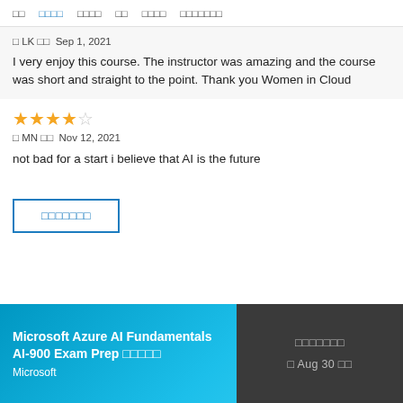□□  □□□□  □□□□  □□  □□□□  □□□□□□□
□ LK □□  Sep 1, 2021
I very enjoy this course. The instructor was amazing and the course was short and straight to the point. Thank you Women in Cloud
★★★★☆
□ MN □□  Nov 12, 2021
not bad for a start i believe that AI is the future
□□□□□□□
Microsoft Azure AI Fundamentals AI-900 Exam Prep □□□□□
Microsoft
□□□□□□□
□ Aug 30 □□